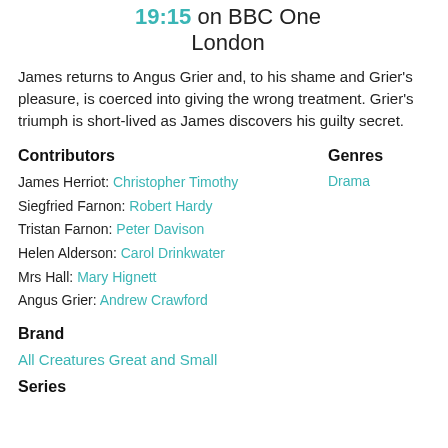19:15 on BBC One London
James returns to Angus Grier and, to his shame and Grier's pleasure, is coerced into giving the wrong treatment. Grier's triumph is short-lived as James discovers his guilty secret.
Contributors
Genres
James Herriot: Christopher Timothy
Drama
Siegfried Farnon: Robert Hardy
Tristan Farnon: Peter Davison
Helen Alderson: Carol Drinkwater
Mrs Hall: Mary Hignett
Angus Grier: Andrew Crawford
Brand
All Creatures Great and Small
Series